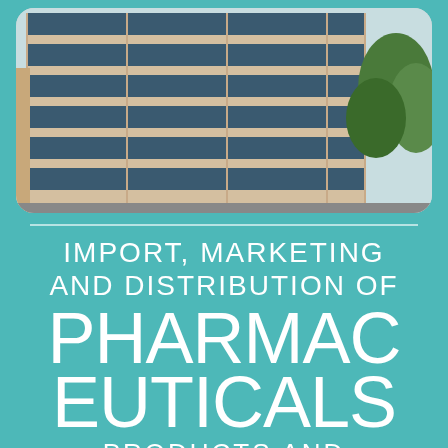[Figure (photo): Photo of a multi-story modern office/commercial building with horizontal bands of windows, beige/tan facade, with trees visible at right side, photographed from street level looking up.]
IMPORT, MARKETING AND DISTRIBUTION OF PHARMACEUTICALS PRODUCTS AND MEDICAL